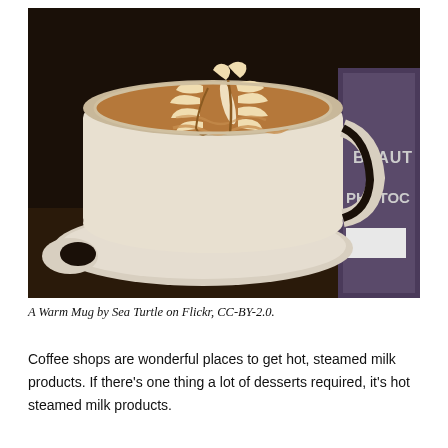[Figure (photo): A latte art coffee in a white ceramic cup on a saucer. The coffee has an intricate leaf/fern pattern drawn in steamed milk on the surface. In the background there is a dark book with 'BEAUTY IN PHOTOG' visible on its spine.]
A Warm Mug by Sea Turtle on Flickr, CC-BY-2.0.
Coffee shops are wonderful places to get hot, steamed milk products. If there's one thing a lot of desserts required, it's hot steamed milk products.